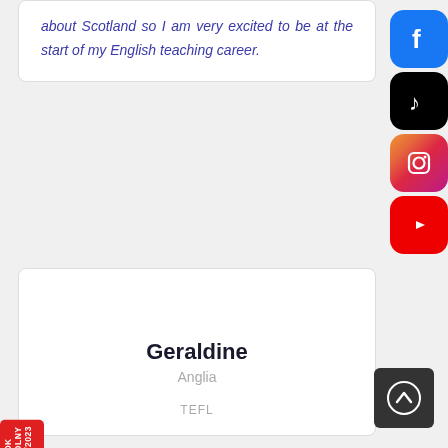about Scotland so I am very excited to be at the start of my English teaching career.
[Figure (illustration): Social media icons: Facebook, TikTok, Instagram, YouTube stacked vertically on the right side]
Geraldine
Anglia
TEFL
ROK SZKOLNY 2022/2023